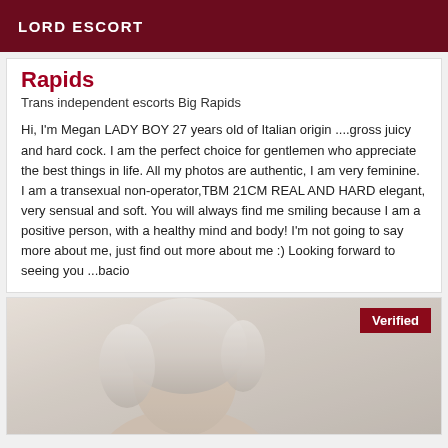LORD ESCORT
Rapids
Trans independent escorts Big Rapids
Hi, I'm Megan LADY BOY 27 years old of Italian origin ....gross juicy and hard cock. I am the perfect choice for gentlemen who appreciate the best things in life. All my photos are authentic, I am very feminine. I am a transexual non-operator,TBM 21CM REAL AND HARD elegant, very sensual and soft. You will always find me smiling because I am a positive person, with a healthy mind and body! I'm not going to say more about me, just find out more about me :) Looking forward to seeing you ...bacio
[Figure (photo): Blurred photo of a person with light hair, partially visible. A dark red 'Verified' badge is shown in the top right corner of the image.]